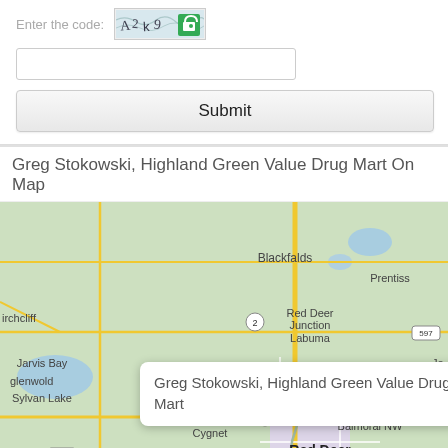Enter the code:
[Figure (other): CAPTCHA image with distorted text and lock icon]
[Figure (other): Text input field for CAPTCHA code]
Submit
Greg Stokowski, Highland Green Value Drug Mart On Map
[Figure (map): Google Maps view centered on Red Deer, Alberta, Canada showing Blackfalds, Prentiss, Red Deer Junction, Labuma, Jarvis Bay, Sylvan Lake, Balmoral NW, Cygnet, Red Deer, Gasoline Alley, Springbrook, with route markers 2, 11, 595, 597, 781, 808. A popup reads: Greg Stokowski, Highland Green Value Drug Mart]